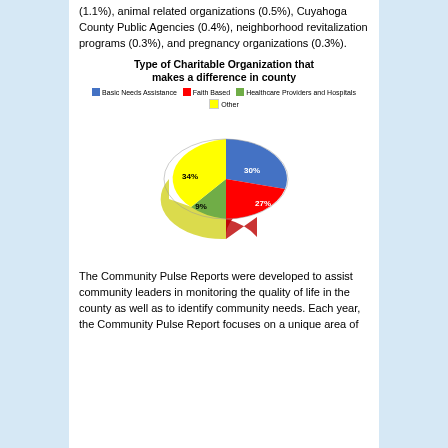(1.1%), animal related organizations (0.5%), Cuyahoga County Public Agencies (0.4%), neighborhood revitalization programs (0.3%), and pregnancy organizations (0.3%).
[Figure (pie-chart): Type of Charitable Organization that makes a difference in county]
The Community Pulse Reports were developed to assist community leaders in monitoring the quality of life in the county as well as to identify community needs. Each year, the Community Pulse Report focuses on a unique area of